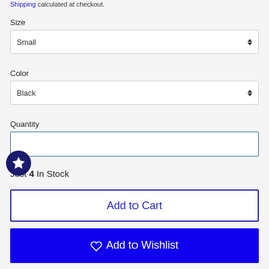Shipping calculated at checkout.
Size
Small
Color
Black
Quantity
Just 4 In Stock
Add to Cart
Add to Wishlist